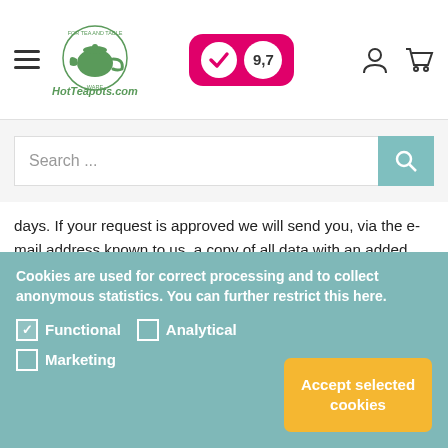HotTeapots.com — navigation header with logo, kiyoh badge (9,7), user icon, cart icon
[Figure (screenshot): Search bar with placeholder text 'Search ...' and teal search button]
days. If your request is approved we will send you, via the e-mail address known to us, a copy of all data with an added overview of processors managing this data while also mentioning the categories under which we store this data.
Right to rectification
At all times you maintain the right to have the data we process that has a relation or may be reducible to your person be
Cookies are used for correct processing and to collect anonymous statistics. You can further restrict this here.
✓ Functional □ Analytical
□ Marketing
Accept selected cookies